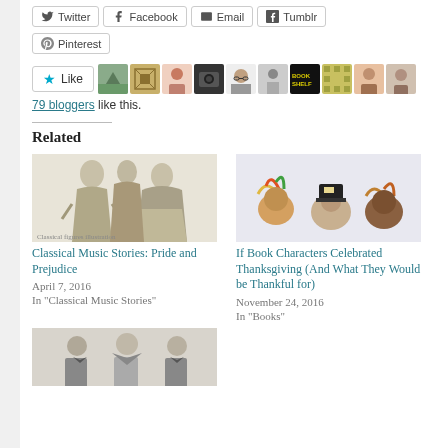[Figure (other): Social share buttons: Twitter, Facebook, Email, Tumblr, Pinterest]
[Figure (other): Like button with star icon and 9 blogger avatar thumbnails]
79 bloggers like this.
Related
[Figure (photo): Black and white illustration of people in period costume - Pride and Prejudice]
Classical Music Stories: Pride and Prejudice
April 7, 2016
In "Classical Music Stories"
[Figure (photo): Thanksgiving themed crafts - turkey figurines]
If Book Characters Celebrated Thanksgiving (And What They Would be Thankful for)
November 24, 2016
In "Books"
[Figure (photo): Black and white photo of people in formal wear]